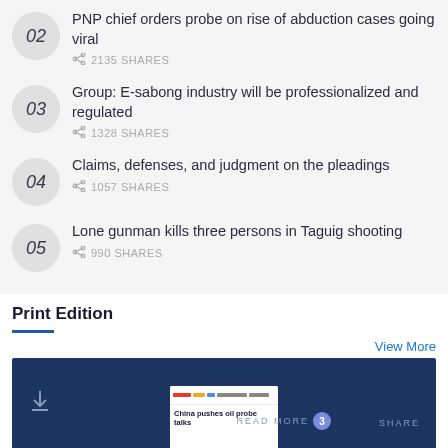02 PNP chief orders probe on rise of abduction cases going viral — 2135 SHARES
03 Group: E-sabong industry will be professionalized and regulated — 1328 SHARES
04 Claims, defenses, and judgment on the pleadings — 1057 SHARES
05 Lone gunman kills three persons in Taguig shooting — 990 SHARES
Print Edition
View More
[Figure (screenshot): Print edition banner showing download icon, READ MORE label with badge showing 3, SHARE label, and newspaper thumbnail with headline 'China pushes oil probe talks']